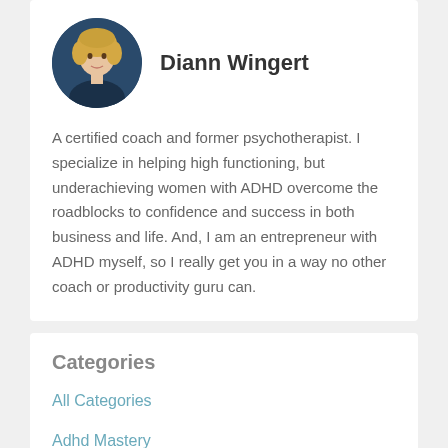[Figure (photo): Circular profile photo of Diann Wingert, a woman with blonde hair, against a dark blue background]
Diann Wingert
A certified coach and former psychotherapist. I specialize in helping high functioning, but underachieving women with ADHD overcome the roadblocks to confidence and success in both business and life. And, I am an entrepreneur with ADHD myself, so I really get you in a way no other coach or productivity guru can.
Categories
All Categories
Adhd Mastery
Ambition